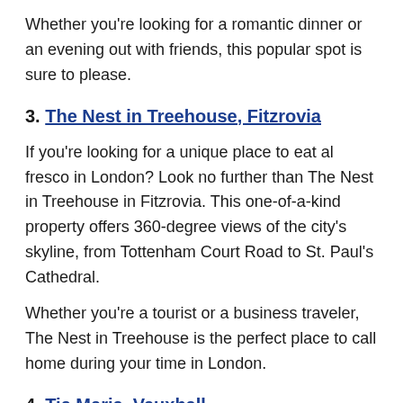Whether you’re looking for a romantic dinner or an evening out with friends, this popular spot is sure to please.
3. The Nest in Treehouse, Fitzrovia
If you’re looking for a unique place to eat al fresco in London? Look no further than The Nest in Treehouse in Fitzrovia. This one-of-a-kind property offers 360-degree views of the city’s skyline, from Tottenham Court Road to St. Paul’s Cathedral.
Whether you’re a tourist or a business traveler, The Nest in Treehouse is the perfect place to call home during your time in London.
4. Tia Maria, Vauxhall
Looking for a casual bar and restaurant in Vauxhall with delicious Brazilian food and live music?
Look no further than Tia Maria in Vauxhall! They have everything you need for an enjoyable evening